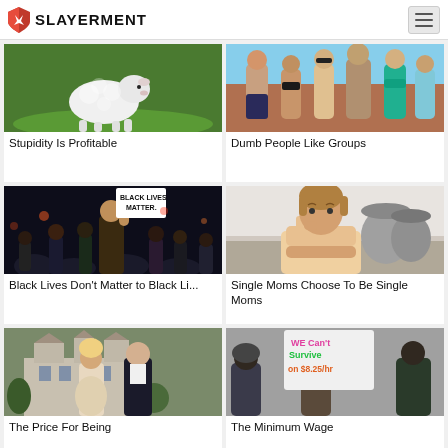SLAYERMENT
[Figure (photo): White lamb lying on green grass]
Stupidity Is Profitable
[Figure (photo): Group of people at a beach party]
Dumb People Like Groups
[Figure (photo): Black Lives Matter protest with sign]
Black Lives Don't Matter to Black Li...
[Figure (photo): Woman leaning on kitchen counter looking bored]
Single Moms Choose To Be Single Moms
[Figure (photo): Couple in formal attire in front of a mansion]
The Price For Being
[Figure (photo): Protester holding sign saying WE Can't Survive on $8.25/hr]
The Minimum Wage